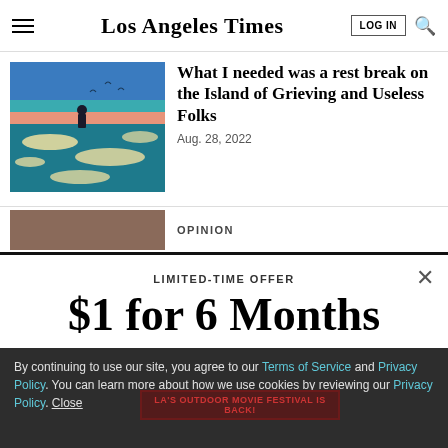Los Angeles Times
[Figure (illustration): Illustrated image of a person standing in colorful water with teal, pink, and cream patterns]
What I needed was a rest break on the Island of Grieving and Useless Folks
Aug. 28, 2022
OPINION
LIMITED-TIME OFFER
$1 for 6 Months
SUBSCRIBE NOW
By continuing to use our site, you agree to our Terms of Service and Privacy Policy. You can learn more about how we use cookies by reviewing our Privacy Policy. Close
LA'S OUTDOOR MOVIE FESTIVAL IS BACK!